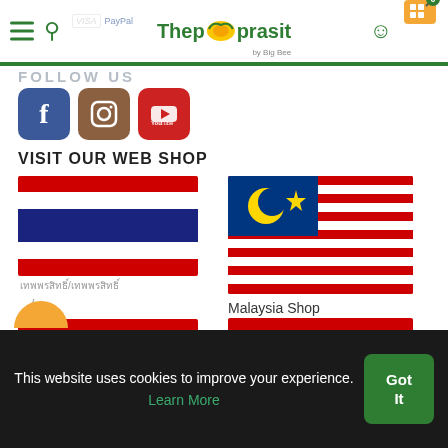Thepprasit by Big Bee — header with hamburger, search, Visa/PayPal logos, user icon, cart (0)
FOLLOW US
[Figure (logo): Facebook, Instagram, YouTube social media buttons]
VISIT OUR WEB SHOP
[Figure (illustration): Thailand flag (red/white/navy), Thai text label, Hong Kong flag (red with bauhinia flower), slash separator]
[Figure (illustration): Malaysia flag (Jalur Gemilang) with crescent and star, Malaysia Shop label; Indonesia flag (top red portion visible)]
Malaysia Shop
This website uses cookies to improve your experience. Learn More
Got It